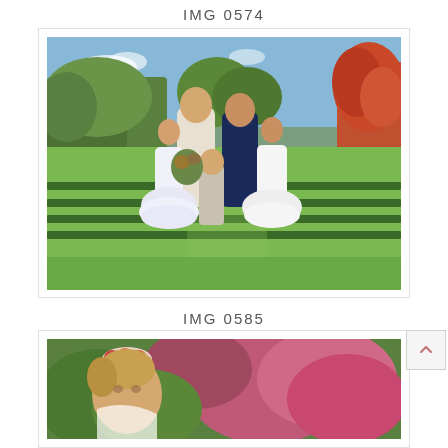IMG 0574
[Figure (photo): Outdoor wedding photo showing two adult women and three children (two girls in white flower girl dresses and a boy in a suit) posing on a manicured lawn with hedges and trees in the background on a sunny day.]
IMG 0585
[Figure (photo): Partial outdoor wedding photo showing a close-up of a child with floral hair accessory, with colorful flowering trees/bushes in the background.]